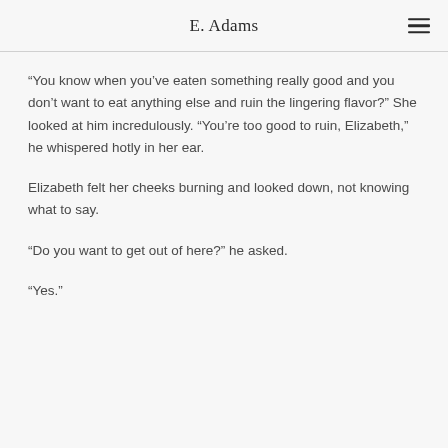E. Adams
“You know when you’ve eaten something really good and you don’t want to eat anything else and ruin the lingering flavor?” She looked at him incredulously. “You’re too good to ruin, Elizabeth,” he whispered hotly in her ear.
Elizabeth felt her cheeks burning and looked down, not knowing what to say.
“Do you want to get out of here?” he asked.
“Yes.”